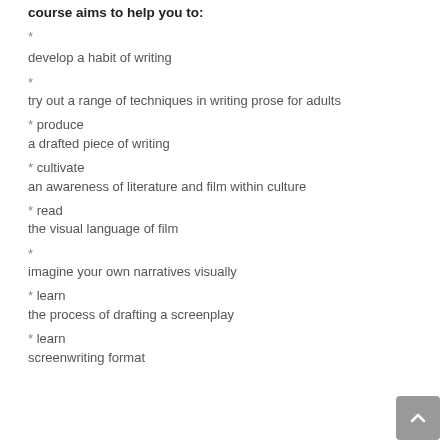course aims to help you to:
* develop a habit of writing
* try out a range of techniques in writing prose for adults
* produce a drafted piece of writing
* cultivate an awareness of literature and film within culture
* read the visual language of film
* imagine your own narratives visually
* learn the process of drafting a screenplay
* learn screenwriting format